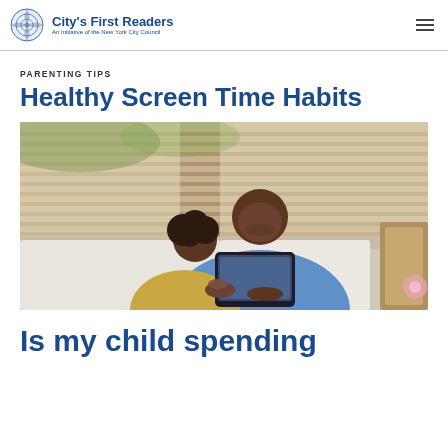City's First Readers — An Initiative of the New York City Council
PARENTING TIPS
Healthy Screen Time Habits
[Figure (photo): A father and young child sitting on a couch together, looking at a tablet device. The father is wearing a light blue shirt and the child is wearing a yellow top. Wooden blinds and a window are visible in the background.]
Is my child spending